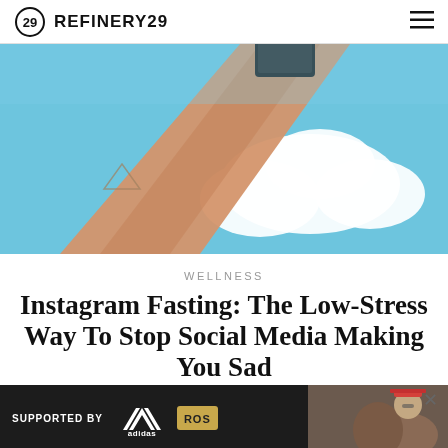REFINERY29
[Figure (photo): A raised arm holding a smartphone up against a blue sky with white clouds. The arm has a small triangle tattoo.]
WELLNESS
Instagram Fasting: The Low-Stress Way To Stop Social Media Making You Sad
[Figure (photo): Advertisement banner: SUPPORTED BY adidas and ROS logos, with a photo of a woman on the right side.]
ELIZABETH BENNETT   OCTOBER 22, 2021 1:11 PM